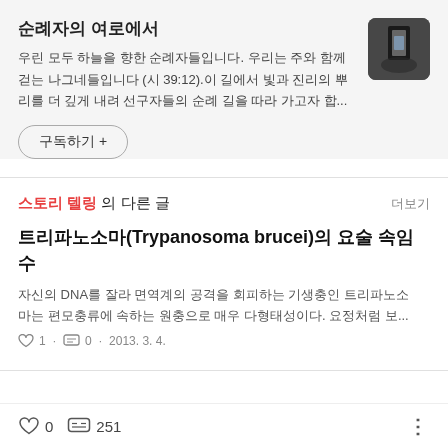순례자의 여로에서
우린 모두 하늘을 향한 순례자들입니다. 우리는 주와 함께 걷는 나그네들입니다 (시 39:12).이 길에서 빛과 진리의 뿌리를 더 깊게 내려 선구자들의 순례 길을 따라 가고자 합...
구독하기 +
스토리 텔링 의 다른 글
트리파노소마(Trypanosoma brucei)의 요술 속임수
자신의 DNA를 잘라 면역계의 공격을 회피하는 기생충인 트리파노소마는 편모충류에 속하는 원충으로 매우 다형태성이다. 요정처럼 보...
♡ 1  ·  0  · 2013. 3. 4.
♡ 0   251   ⋮